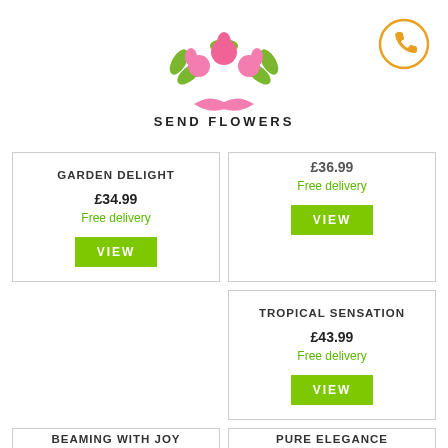[Figure (logo): Send Flowers logo with pink roses and green leaves, pink ribbon below, text SEND FLOWERS in bold letters]
[Figure (illustration): Orange circle with phone handset icon]
GARDEN DELIGHT
£34.99
Free delivery
VIEW
£36.99
Free delivery
VIEW
TROPICAL SENSATION
£43.99
Free delivery
VIEW
BEAMING WITH JOY
£40.99
PURE ELEGANCE
£42.00